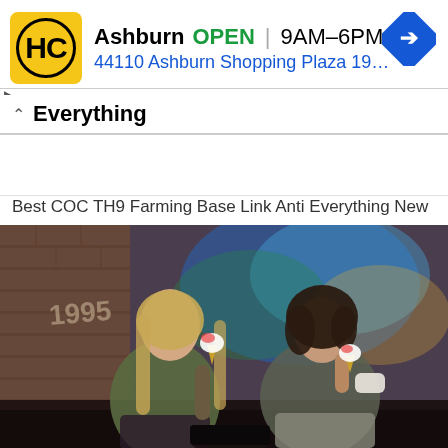[Figure (screenshot): Advertisement banner for HC (Hibbett City Gear) store in Ashburn. Shows HC logo in yellow square, store name 'Ashburn', OPEN status in green, hours '9AM-6PM', address '44110 Ashburn Shopping Plaza 190, A...' in blue, blue diamond navigation arrow icon on right. Small play and X control buttons on left side.]
Everything
Best COC TH9 Farming Base Link Anti Everything New Update 2020 With bomb tower & Air Sweeper .These Layo...
cocbases.com
[Figure (photo): Photo of two young women sitting against a graffiti-covered brick wall. The woman on the left has long blonde hair, wearing a green/olive jacket, eating an ice cream cone. The woman on the right has dark curly hair, wearing a camo jacket, also eating an ice cream cone. Dark floor, colorful graffiti visible behind them including the numbers 1995.]